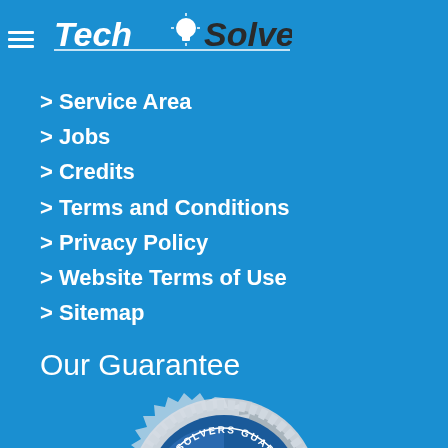TechSolvers logo with hamburger menu
> Service Area
> Jobs
> Credits
> Terms and Conditions
> Privacy Policy
> Website Terms of Use
> Sitemap
Our Guarantee
[Figure (logo): TechSolvers Guarantee badge/seal with checkmark and gear-like border]